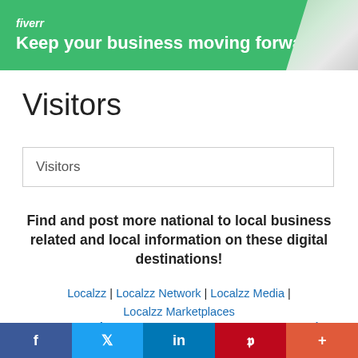[Figure (illustration): Fiverr advertisement banner with green background, logo, tagline and laptop image]
Visitors
Visitors
Find and post more national to local business related and local information on these digital destinations!
Localzz | Localzz Network | Localzz Media | Localzz Marketplaces
LOCAL and NATIONAL INFORMATION NETWORK |
[Figure (infographic): Social sharing bar with Facebook, Twitter, LinkedIn, Pinterest, and More buttons]